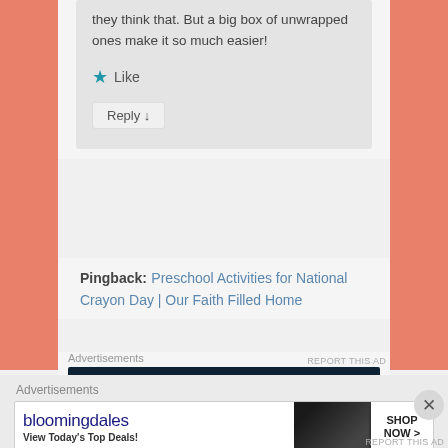they think that. But a big box of unwrapped ones make it so much easier!
★ Like
Reply ↓
Pingback: Preschool Activities for National Crayon Day | Our Faith Filled Home
Advertisements
[Figure (screenshot): Dark navy advertisement banner: 'Opinions. We all have them!' with WordPress W logo and another circular brand icon]
Advertisements
[Figure (screenshot): Bloomingdale's advertisement banner showing logo, 'View Today's Top Deals!' text, woman with hat image, and SHOP NOW button]